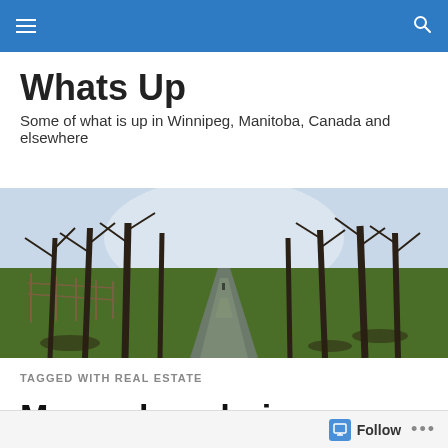Navigation bar with menu and search icons
Whats Up
Some of what is up in Winnipeg, Manitoba, Canada and elsewhere
[Figure (photo): A tree-lined path or avenue with bare winter trees on both sides, green grass, and a road leading into the distance. Sunlight filters through the trees. A fence is visible on the left side.]
TAGGED WITH REAL ESTATE
Money-laundering commission resumes hearings in B.C.
Follow ...